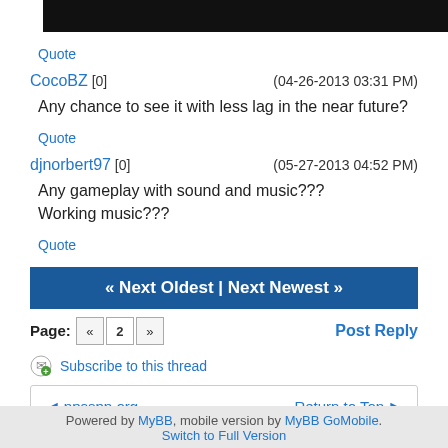[Figure (other): Black header bar at top of page]
Quote
CocoBZ [0]   (04-26-2013 03:31 PM)
Any chance to see it with less lag in the near future?
Quote
djnorbert97 [0]   (05-27-2013 04:52 PM)
Any gameplay with sound and music???
Working music???
Quote
« Next Oldest | Next Newest »
Page: « 2 »   Post Reply
Subscribe to this thread
ppsspp.org   Return to Top
Powered by MyBB, mobile version by MyBB GoMobile. Switch to Full Version